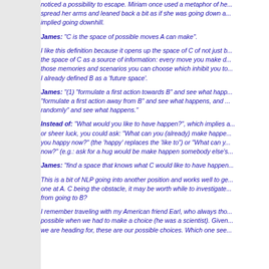noticed a possibility to escape. Miriam once used a metaphor of he... spread her arms and leaned back a bit as if she was going down a... implied going downhill.
James: "C is the space of possible moves A can make".
I like this definition because it opens up the space of C of not just b... the space of C as a source of information: every move you make d... those memories and scenarios you can choose which inhibit you to... I already defined B as a 'future space'.
James: "(1) "formulate a first action towards B" and see what happ... "formulate a first action away from B" and see what happens, and ... randomly" and see what happens."
Instead of: "What would you like to have happen?", which implies a... or sheer luck, you could ask: "What can you (already) make happe... you happy now?" (the 'happy' replaces the 'like to") or "What can y... now?" (e.g.: ask for a hug would be make happen somebody else's...
James: "find a space that knows what C would like to have happen...
This is a bit of NLP going into another position and works well to ge... one at A. C being the obstacle, it may be worth while to investigate... from going to B?
I remember traveling with my American friend Earl, who always tho... possible when we had to make a choice (he was a scientist). Given... we are heading for, these are our possible choices. Which one see...